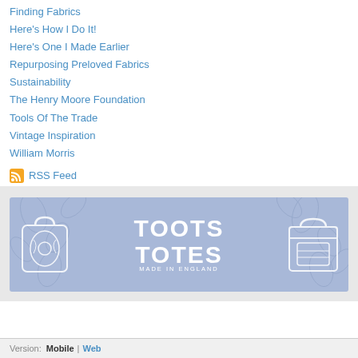Finding Fabrics
Here's How I Do It!
Here's One I Made Earlier
Repurposing Preloved Fabrics
Sustainability
The Henry Moore Foundation
Tools Of The Trade
Vintage Inspiration
William Morris
RSS Feed
[Figure (logo): Toots Totes Made in England banner logo with blue background, white handbag illustrations on left and right, large white text TOOTS TOTES in center, MADE IN ENGLAND subtitle]
Version: Mobile | Web